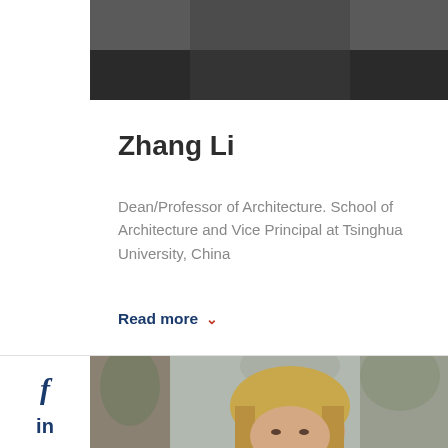[Figure (photo): Partial top of a person's head wearing dark clothing, cropped profile photo]
Zhang Li
Dean/Professor of Architecture. School of Architecture and Vice Principal at Tsinghua University, China
Read more
[Figure (photo): A woman with long blonde hair smiling outdoors, blurred trees in background]